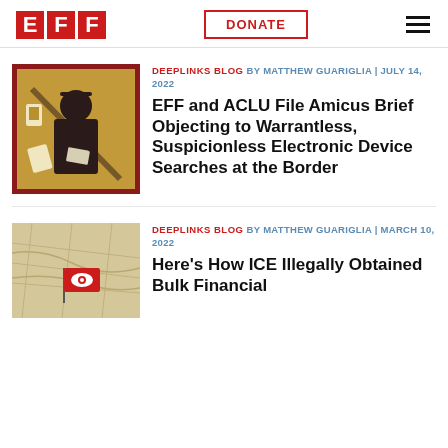EFF | DONATE
DEEPLINKS BLOG BY MATTHEW GUARIGLIA | JULY 14, 2022
EFF and ACLU File Amicus Brief Objecting to Warrantless, Suspicionless Electronic Device Searches at the Border
[Figure (illustration): Illustration of a person silhouette with electronic devices (phone, tablet) on a yellow/brown distressed background with a red border]
DEEPLINKS BLOG BY MATTHEW GUARIGLIA | MARCH 10, 2022
Here's How ICE Illegally Obtained Bulk Financial
[Figure (photo): Photo of a map with a small red flag featuring a white eye symbol pinned into it]